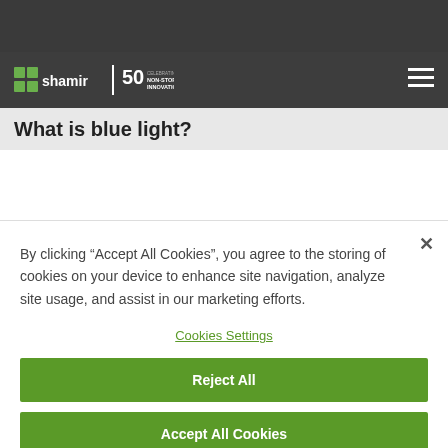Shamir | 50 Celebrating 50 Years of Non-Stop Innovation
To throw some light on the subject (excuse the pun), we decided to dedicate a post on presenting you with simplified information that you can give to your patients about blue light and its effects on their eyes.
What is blue light?
By clicking “Accept All Cookies”, you agree to the storing of cookies on your device to enhance site navigation, analyze site usage, and assist in our marketing efforts.
Cookies Settings
Reject All
Accept All Cookies